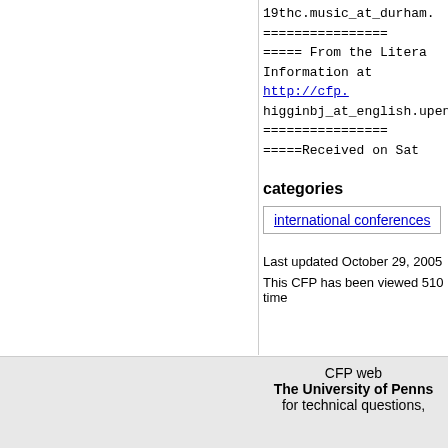19thc.music_at_durham.
================
===== From the Litera
Information at http://cfp.
higginbj_at_english.upen
================
=====Received on Sat
categories
international conferences
Last updated October 29, 2005
This CFP has been viewed 510 time
CFP web
The University of Penns
for technical questions,